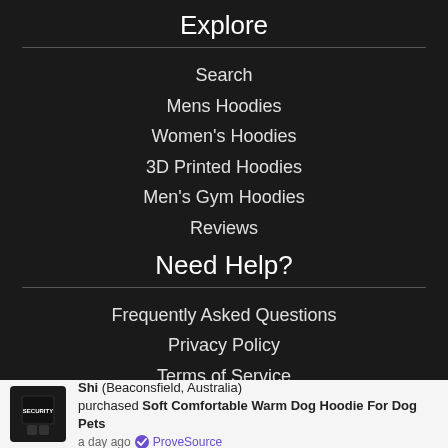Explore
Search
Mens Hoodies
Women's Hoodies
3D Printed Hoodies
Men's Gym Hoodies
Reviews
Need Help?
Frequently Asked Questions
Privacy Policy
Terms of Service
Shipping and Delivery
Shi (Beaconsfield, Australia) purchased Soft Comfortable Warm Dog Hoodie For Dog Pets a day ago ✓ ProveSource